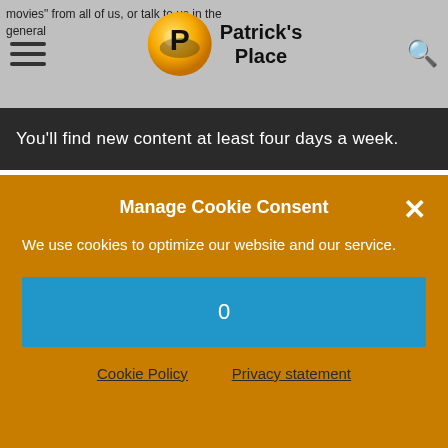Patrick's Place
You'll find new content at least four days a week.
Manage Cookie Consent
We use cookies to optimize our website and our service.
0
Cookie Policy   Privacy statement
SEARCH THE SITE
Search and hit enter...